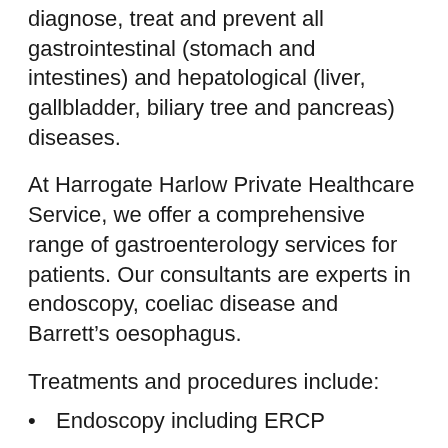diagnose, treat and prevent all gastrointestinal (stomach and intestines) and hepatological (liver, gallbladder, biliary tree and pancreas) diseases.
At Harrogate Harlow Private Healthcare Service, we offer a comprehensive range of gastroenterology services for patients. Our consultants are experts in endoscopy, coeliac disease and Barrett’s oesophagus.
Treatments and procedures include:
Endoscopy including ERCP
Coeliac disease
Barrett’s oesophagus
Inflammatory bowel disease
Colonoscopy
Oesophago-gastro duodenoscopy (OGD)